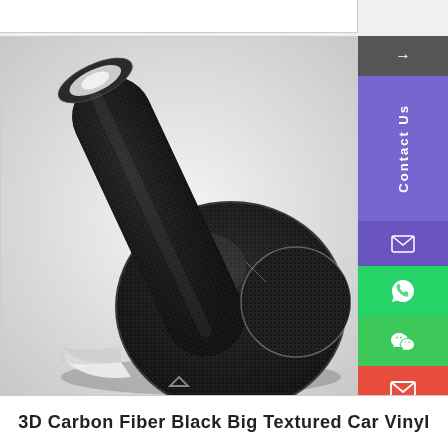[Figure (photo): 3D carbon fiber black vinyl wrap product photo showing two rolls of black carbon fiber textured vinyl wrap material on a white background. The texture shows a distinctive woven carbon fiber pattern. One roll is standing upright and one is laid flat with a circular cross-section visible.]
[Figure (screenshot): Right-side floating contact/navigation bar with purple Contact Us section, green WhatsApp icon, green WeChat icon, red email icon, and a teal chat bubble button.]
3D Carbon Fiber Black Big Textured Car Vinyl